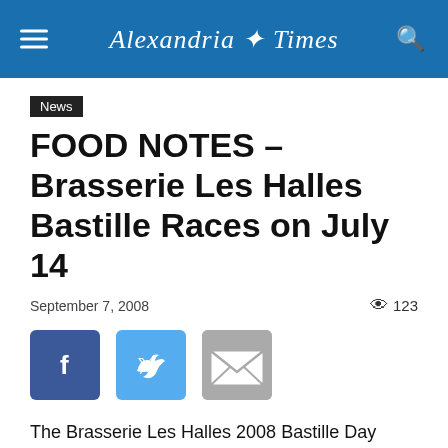Alexandria Times
News
FOOD NOTES – Brasserie Les Halles Bastille Races on July 14
September 7, 2008  👁 123
[Figure (other): Social media share buttons: Facebook, Twitter, Email]
The Brasserie Les Halles 2008 Bastille Day Race & Celebration returns to the streets of downtown D.C. (1201 Pennsylvania Avenue, NW) on Monday, July 14, as part of the restaurants annual 11-day Liberty Festival, from July 4 through 14, with sponsorship provided by Volvic Mineral